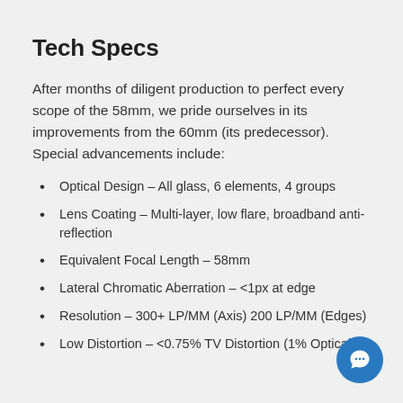Tech Specs
After months of diligent production to perfect every scope of the 58mm, we pride ourselves in its improvements from the 60mm (its predecessor). Special advancements include:
Optical Design – All glass, 6 elements, 4 groups
Lens Coating – Multi-layer, low flare, broadband anti-reflection
Equivalent Focal Length – 58mm
Lateral Chromatic Aberration – <1px at edge
Resolution – 300+ LP/MM (Axis) 200 LP/MM (Edges)
Low Distortion – <0.75% TV Distortion (1% Optical)